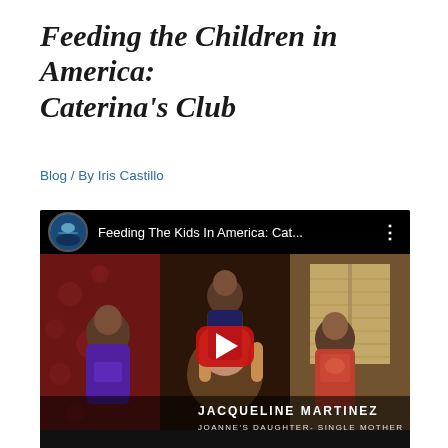Feeding the Children in America: Caterina's Club
Blog / By Iris Castillo
[Figure (screenshot): YouTube video embed thumbnail showing a woman and three children standing in a home interior. Video title bar reads 'Feeding The Kids In America: Cat...' with a YouTube channel avatar. A large red YouTube play button is overlaid in the center. Lower-third caption reads 'JACQUELINE MARTINEZ / JOANNE'S DAUGHTER- SINGLE MOTHER'.]